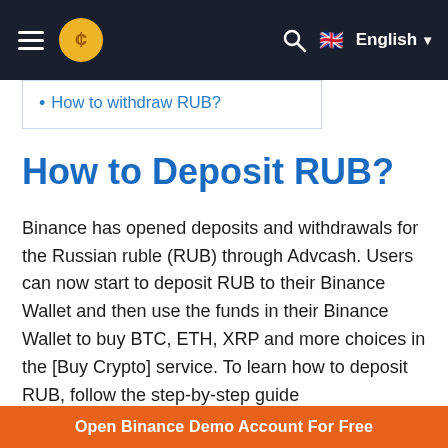≡ [Binance logo] 🔍 🇬🇧 English ▼
How to withdraw RUB?
How to Deposit RUB?
Binance has opened deposits and withdrawals for the Russian ruble (RUB) through Advcash. Users can now start to deposit RUB to their Binance Wallet and then use the funds in their Binance Wallet to buy BTC, ETH, XRP and more choices in the [Buy Crypto] service. To learn how to deposit RUB, follow the step-by-step guide
Open Binance Demo Account For Free